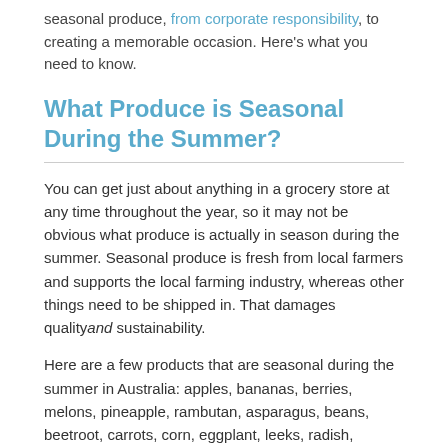seasonal produce, from corporate responsibility, to creating a memorable occasion. Here's what you need to know.
What Produce is Seasonal During the Summer?
You can get just about anything in a grocery store at any time throughout the year, so it may not be obvious what produce is actually in season during the summer. Seasonal produce is fresh from local farmers and supports the local farming industry, whereas other things need to be shipped in. That damages quality and sustainability.
Here are a few products that are seasonal during the summer in Australia: apples, bananas, berries, melons, pineapple, rambutan, asparagus, beans, beetroot, carrots, corn, eggplant, leeks, radish, shallots, squash, tomato, watercress, and zucchini. Australia has some fantastic produce that's available during the summer, during a time when much of the world doesn't have similar produce available locally.